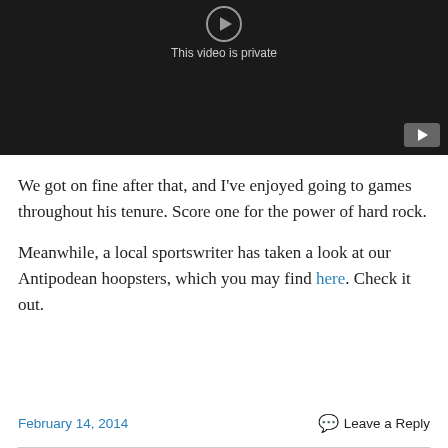[Figure (screenshot): YouTube video player showing 'This video is private' message on dark background with YouTube play button icon in lower right]
We got on fine after that, and I've enjoyed going to games throughout his tenure. Score one for the power of hard rock.
Meanwhile, a local sportswriter has taken a look at our Antipodean hoopsters, which you may find here. Check it out.
February 14, 2014   Leave a Reply